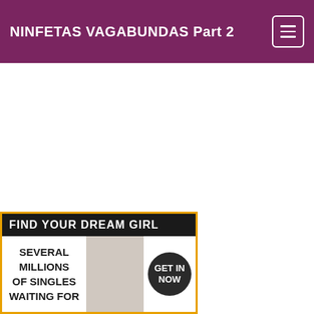NINFETAS VAGABUNDAS Part 2
[Figure (photo): Blank white content area placeholder for video/media embed]
[Figure (infographic): Advertisement banner: FIND YOUR DREAM GIRL - SEVERAL MILLIONS OF SINGLES WAITING FOR - with GET IN NOW badge and blonde woman photo]